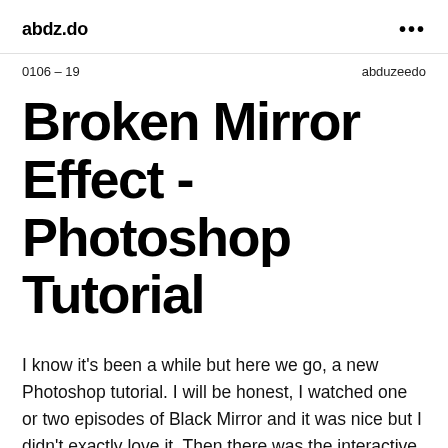abdz.do   •••
0106 – 19   abduzeedo
Broken Mirror Effect - Photoshop Tutorial
I know it's been a while but here we go, a new Photoshop tutorial. I will be honest, I watched one or two episodes of Black Mirror and it was nice but I didn't exactly love it. Then there was the interactive